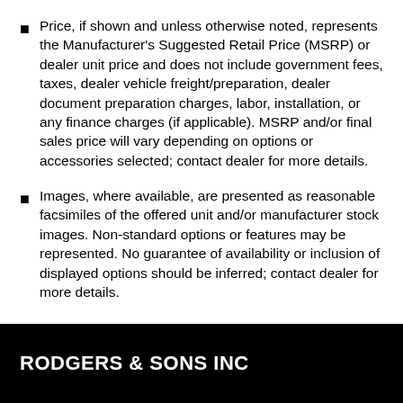Price, if shown and unless otherwise noted, represents the Manufacturer's Suggested Retail Price (MSRP) or dealer unit price and does not include government fees, taxes, dealer vehicle freight/preparation, dealer document preparation charges, labor, installation, or any finance charges (if applicable). MSRP and/or final sales price will vary depending on options or accessories selected; contact dealer for more details.
Images, where available, are presented as reasonable facsimiles of the offered unit and/or manufacturer stock images. Non-standard options or features may be represented. No guarantee of availability or inclusion of displayed options should be inferred; contact dealer for more details.
RODGERS & SONS INC